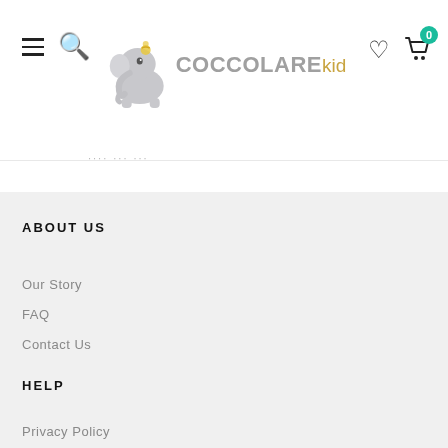[Figure (logo): Coccolare kid logo with cartoon elephant and brand name]
ABOUT US
Our Story
FAQ
Contact Us
HELP
Privacy Policy